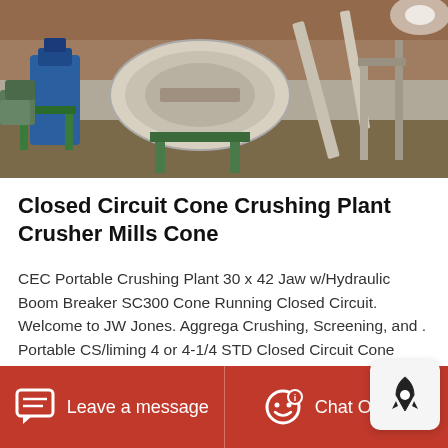[Figure (photo): Outdoor industrial crushing plant machinery with blue motor, circular vibrating screens, and conveyor equipment on steel frames]
Closed Circuit Cone Crushing Plant Crusher Mills Cone
CEC Portable Crushing Plant 30 x 42 Jaw w/Hydraulic Boom Breaker SC300 Cone Running Closed Circuit. Welcome to JW Jones. Aggregate Crushing, Screening, and . Portable CS/liming 4 or 4-1/4 STD Closed Circuit Cone Crushing Plant w/ 616 Horizontal Screen (001841) CS/liming 4 or 4-1/4 standard cone crusher .
Free Quote
Leave a message   Chat Online